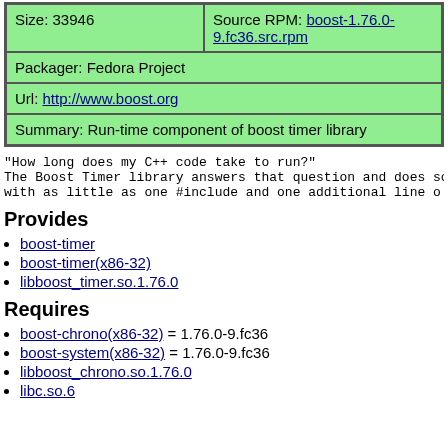| Size: 33946 | Source RPM: boost-1.76.0-9.fc36.src.rpm |
| Packager: Fedora Project |  |
| Url: http://www.boost.org |  |
| Summary: Run-time component of boost timer library |  |
"How long does my C++ code take to run?"
The Boost Timer library answers that question and does so
with as little as one #include and one additional line o
Provides
boost-timer
boost-timer(x86-32)
libboost_timer.so.1.76.0
Requires
boost-chrono(x86-32) = 1.76.0-9.fc36
boost-system(x86-32) = 1.76.0-9.fc36
libboost_chrono.so.1.76.0
libc.so.6